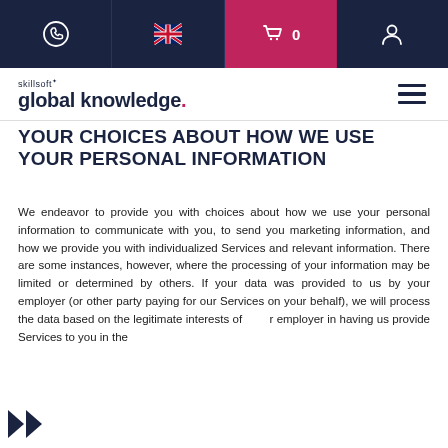[Figure (screenshot): Website navigation bar with phone icon, UK flag icon, shopping cart with 0 items (highlighted in pink/magenta), and user/account icon on dark navy background]
[Figure (logo): Skillsoft Global Knowledge logo with hamburger menu icon]
YOUR CHOICES ABOUT HOW WE USE YOUR PERSONAL INFORMATION
We endeavor to provide you with choices about how we use your personal information to communicate with you, to send you marketing information, and how we provide you with individualized Services and relevant information. There are some instances, however, where the processing of your information may be limited or determined by others. If your data was provided to us by your employer (or other party paying for our Services on your behalf), we will process the data based on the legitimate interests of your employer in having us provide Services to you in the context of the relationship. We may also...